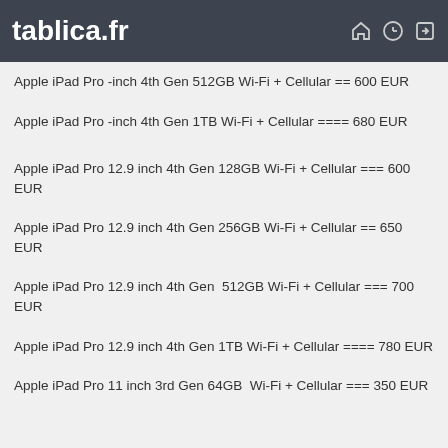tablica.fr
Apple iPad Pro -inch 4th Gen 512GB Wi-Fi + Cellular == 600 EUR
Apple iPad Pro -inch 4th Gen 1TB Wi-Fi + Cellular ==== 680 EUR
Apple iPad Pro 12.9 inch 4th Gen 128GB Wi-Fi + Cellular === 600 EUR
Apple iPad Pro 12.9 inch 4th Gen 256GB Wi-Fi + Cellular == 650 EUR
Apple iPad Pro 12.9 inch 4th Gen  512GB Wi-Fi + Cellular === 700 EUR
Apple iPad Pro 12.9 inch 4th Gen 1TB Wi-Fi + Cellular ==== 780 EUR
Apple iPad Pro 11 inch 3rd Gen 64GB  Wi-Fi + Cellular === 350 EUR